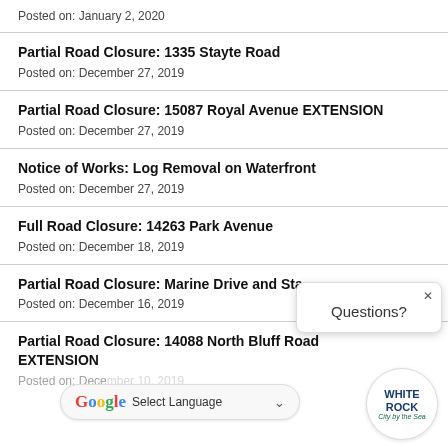Posted on: January 2, 2020
Partial Road Closure: 1335 Stayte Road
Posted on: December 27, 2019
Partial Road Closure: 15087 Royal Avenue EXTENSION
Posted on: December 27, 2019
Notice of Works: Log Removal on Waterfront
Posted on: December 27, 2019
Full Road Closure: 14263 Park Avenue
Posted on: December 18, 2019
Partial Road Closure: Marine Drive and Sta...
Posted on: December 16, 2019
Partial Road Closure: 14088 North Bluff Road EXTENSION
Posted on: December 10, 2019